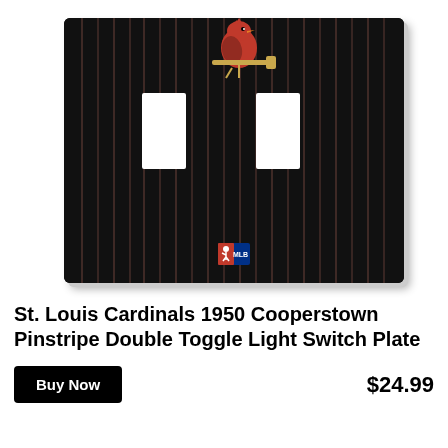[Figure (photo): St. Louis Cardinals 1950 Cooperstown Pinstripe Double Toggle Light Switch Plate product photo. The switch plate has a black background with thin red/pink pinstripes running vertically. A Cardinals bird-on-bat logo appears at the top center. Two white rectangular toggle switch holes are visible. An MLB logo appears at the bottom center. The plate has a white/light border and slight 3D shadow.]
St. Louis Cardinals 1950 Cooperstown Pinstripe Double Toggle Light Switch Plate
Buy Now
$24.99